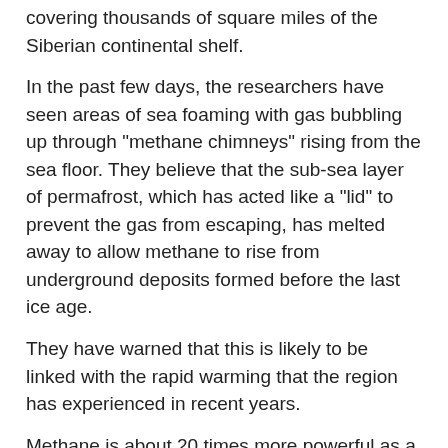covering thousands of square miles of the Siberian continental shelf.
In the past few days, the researchers have seen areas of sea foaming with gas bubbling up through "methane chimneys" rising from the sea floor. They believe that the sub-sea layer of permafrost, which has acted like a "lid" to prevent the gas from escaping, has melted away to allow methane to rise from underground deposits formed before the last ice age.
They have warned that this is likely to be linked with the rapid warming that the region has experienced in recent years.
Methane is about 20 times more powerful as a greenhouse gas than carbon dioxide and many scientists fear that its release could accelerate global warming in a giant positive feedback where more atmospheric methane causes higher temperatures, leading to further permafrost melting and the release of yet more methane.
The amount of methane stored beneath the Arctic is